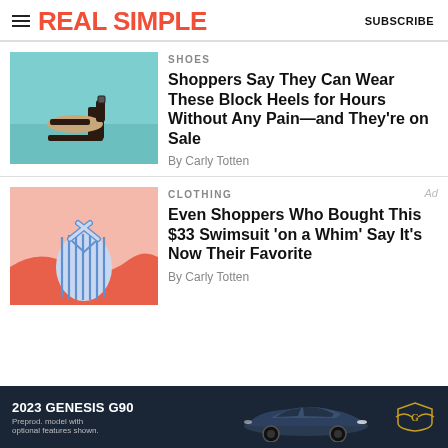REAL SIMPLE | SUBSCRIBE
[Figure (photo): Black block heel sandal on teal/light blue background]
SHOES
Shoppers Say They Can Wear These Block Heels for Hours Without Any Pain—and They're on Sale
By Carly Totten
[Figure (photo): Blue and white striped swimsuit on pink/coral background]
CLOTHING
Even Shoppers Who Bought This $33 Swimsuit 'on a Whim' Say It's Now Their Favorite
By Carly Totten
[Figure (photo): 2023 Genesis G90 advertisement with car image and logo on dark background]